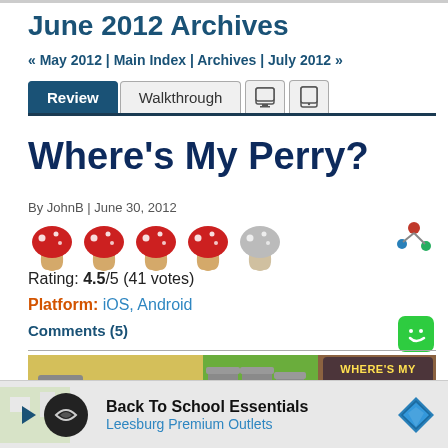June 2012 Archives
« May 2012 | Main Index | Archives | July 2012 »
Review  Walkthrough
Where's My Perry?
By JohnB | June 30, 2012
[Figure (illustration): Five mushroom rating icons, four red and one grey/white, used as a star-rating system]
Rating: 4.5/5 (41 votes)
Platform: iOS, Android
Comments (5)
[Figure (screenshot): Where's My Perry? game banner showing a water faucet, trash cans, and the game's title logo]
[Figure (screenshot): Advertisement: Back To School Essentials - Leesburg Premium Outlets]